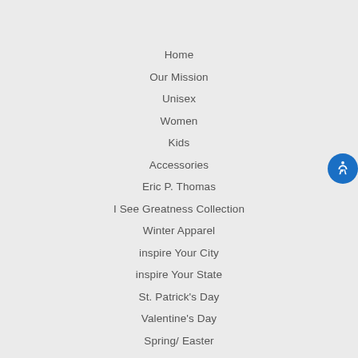Home
Our Mission
Unisex
Women
Kids
Accessories
Eric P. Thomas
I See Greatness Collection
Winter Apparel
inspire Your City
inspire Your State
St. Patrick's Day
Valentine's Day
Spring/ Easter
Summer
Taco Tuesday
Zodiac